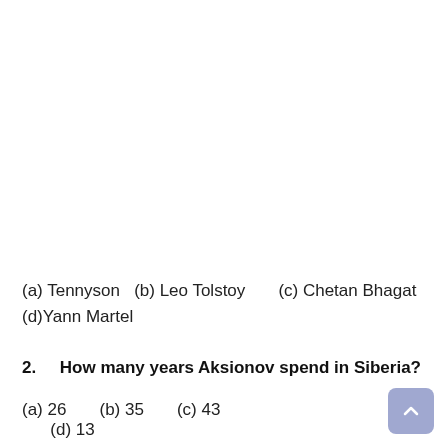(a) Tennyson   (b) Leo Tolstoy        (c) Chetan Bhagat (d)Yann Martel
2.    How many years Aksionov spend in Siberia?
(a) 26        (b) 35        (c) 43        (d) 13